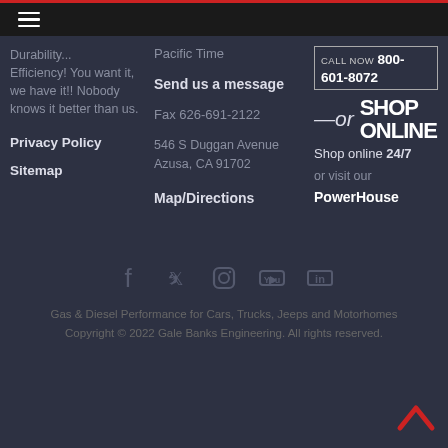Navigation menu bar
Durability... Efficiency! You want it, we have it!! Nobody knows it better than us.
Privacy Policy
Sitemap
Pacific Time
Send us a message
Fax 626-691-2122
546 S Duggan Avenue
Azusa, CA 91702
Map/Directions
CALL NOW 800-601-8072
[Figure (logo): –or SHOP ONLINE branding with shop online 24/7 and or visit our PowerHouse text]
Shop online 24/7
or visit our
PowerHouse
[Figure (infographic): Social media icons: Facebook, Twitter, Instagram, YouTube, LinkedIn]
Gas & Diesel Performance for Cars, Trucks, Jeeps and Motorhomes
Copyright © 2022 Gale Banks Engineering. All rights reserved.